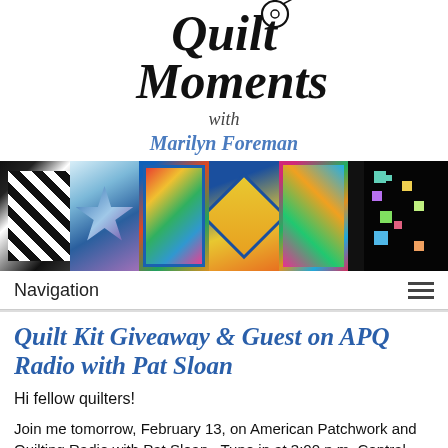[Figure (logo): Quilt Moments logo with needle graphic in script/italic font]
with
Marilyn Foreman
[Figure (photo): Banner of colorful quilt block photographs in a horizontal strip]
Navigation
Quilt Kit Giveaway & Guest on APQ Radio with Pat Sloan
Hi fellow quilters!
Join me tomorrow, February 13, on American Patchwork and Quilting Radio with Pat Sloan.  Tune in at 3:00 p.m. Central Time (4:00 p.m. EST).  If you didn't catch it live, that's OK, it's a podcast so you can listen to it anytime by getting